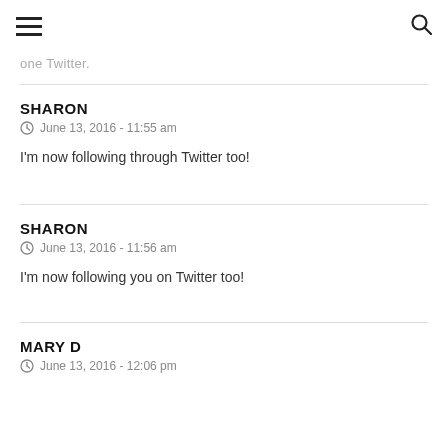≡  🔍
one Twitter.
SHARON
June 13, 2016 - 11:55 am
I'm now following through Twitter too!
SHARON
June 13, 2016 - 11:56 am
I'm now following you on Twitter too!
MARY D
June 13, 2016 - 12:06 pm